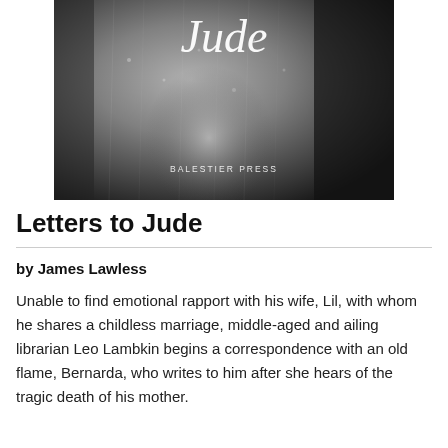[Figure (illustration): Book cover for 'Letters to Jude' published by Balestier Press. Black and white image showing a blurred figure behind a rain-streaked glass surface. Title 'Jude' appears in white italic script at top. 'BALESTIER PRESS' in small white capitals near the bottom.]
Letters to Jude
by James Lawless
Unable to find emotional rapport with his wife, Lil, with whom he shares a childless marriage, middle-aged and ailing librarian Leo Lambkin begins a correspondence with an old flame, Bernarda, who writes to him after she hears of the tragic death of his mother.